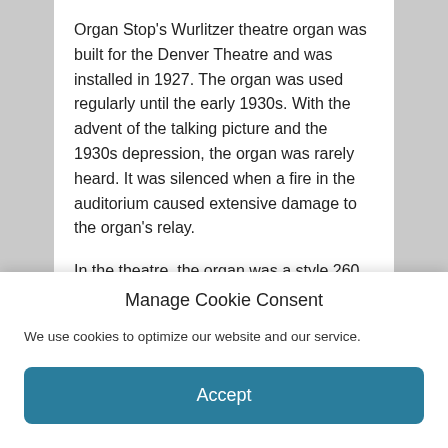Organ Stop's Wurlitzer theatre organ was built for the Denver Theatre and was installed in 1927. The organ was used regularly until the early 1930s. With the advent of the talking picture and the 1930s depression, the organ was rarely heard. It was silenced when a fire in the auditorium caused extensive damage to the organ's relay.
In the theatre, the organ was a style 260, having a three-manual console and 15 ranks/sets of pipes. Organ Stop purchased the instrument in the early 1970s and undertook the mammoth task of
Manage Cookie Consent
We use cookies to optimize our website and our service.
Accept